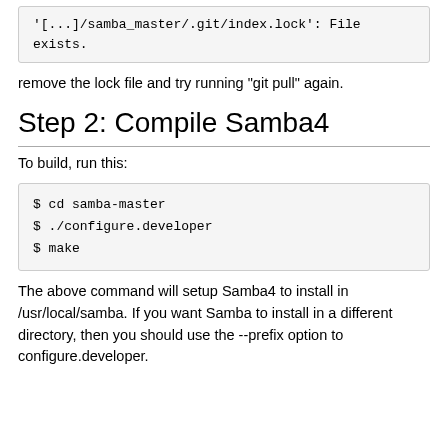'[...]/samba_master/.git/index.lock': File exists.
remove the lock file and try running "git pull" again.
Step 2: Compile Samba4
To build, run this:
$ cd samba-master
$ ./configure.developer
$ make
The above command will setup Samba4 to install in /usr/local/samba. If you want Samba to install in a different directory, then you should use the --prefix option to configure.developer.